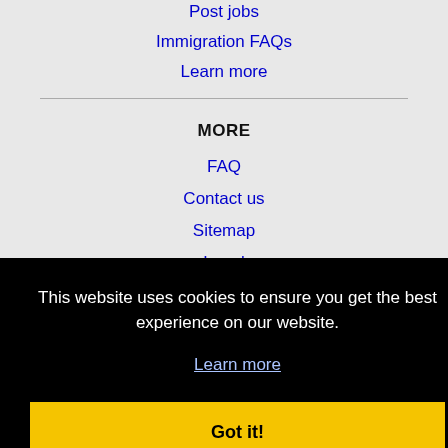Post jobs
Immigration FAQs
Learn more
MORE
FAQ
Contact us
Sitemap
Legal
This website uses cookies to ensure you get the best experience on our website.
Learn more
Got it!
Brentwood, CA Jobs